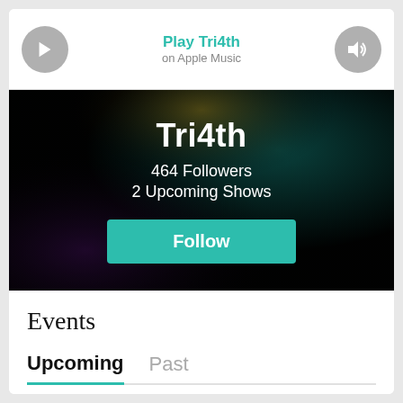Play Tri4th
on Apple Music
[Figure (screenshot): Artist profile hero image for Tri4th showing dark concert background with teal accents. Shows artist name 'Tri4th', '464 Followers', '2 Upcoming Shows', and a teal 'Follow' button.]
Tri4th
464 Followers
2 Upcoming Shows
Events
Upcoming
Past
All Events & Live Streams